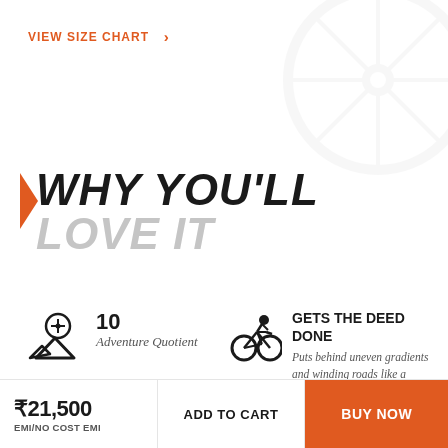VIEW SIZE CHART >
[Figure (illustration): Faint watermark of bicycle wheel in top right corner]
WHY YOU'LL LOVE IT
10
Adventure Quotient
READ MORE >
[Figure (illustration): Compass/navigation icon over mountain silhouette]
GETS THE DEED DONE
Puts behind uneven gradients and winding roads like a maestro
READ MORE >
[Figure (illustration): Cyclist riding bicycle icon]
KEEPS YOU IN
₹21,500
EMI/NO COST EMI
ADD TO CART
BUY NOW